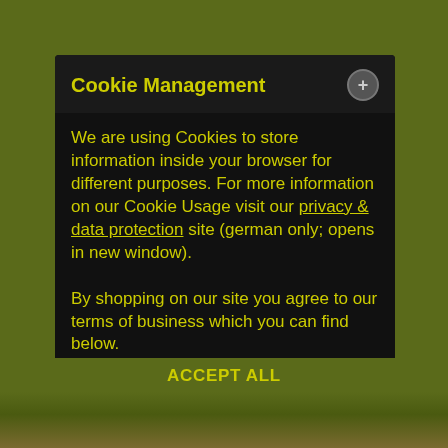Cookie Management
We are using Cookies to store information inside your browser for different purposes. For more information on our Cookie Usage visit our privacy & data protection site (german only; opens in new window).

By shopping on our site you agree to our terms of business which you can find below.
DENY ALL
ACCEPT CURRENT SELECTION
ACCEPT ALL